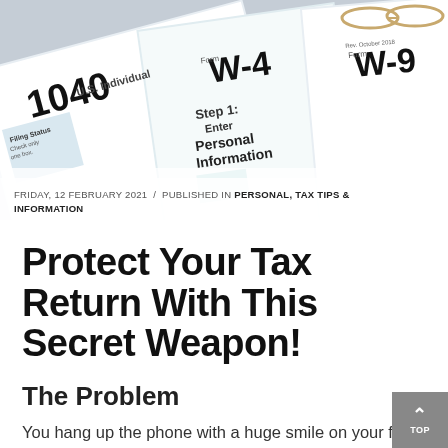[Figure (photo): Close-up photograph of overlapping US tax forms including Form 1040, Form W-4, and Form W-9 on a desk, with eyeglasses resting on top.]
FRIDAY, 12 FEBRUARY 2021  /  PUBLISHED IN PERSONAL, TAX TIPS & INFORMATION
Protect Your Tax Return With This Secret Weapon!
The Problem
You hang up the phone with a huge smile on your face. You just learned that you're getting a pretty